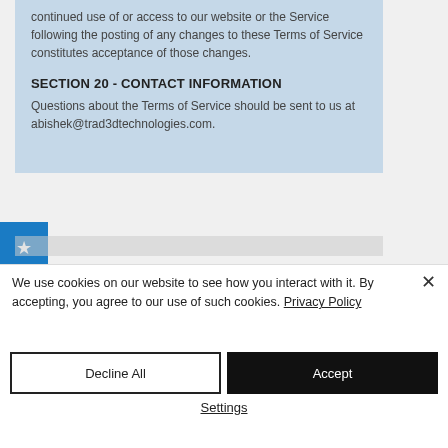continued use of or access to our website or the Service following the posting of any changes to these Terms of Service constitutes acceptance of those changes.
SECTION 20 - CONTACT INFORMATION
Questions about the Terms of Service should be sent to us at abishek@trad3dtechnologies.com.
We use cookies on our website to see how you interact with it. By accepting, you agree to our use of such cookies. Privacy Policy
Decline All
Accept
Settings